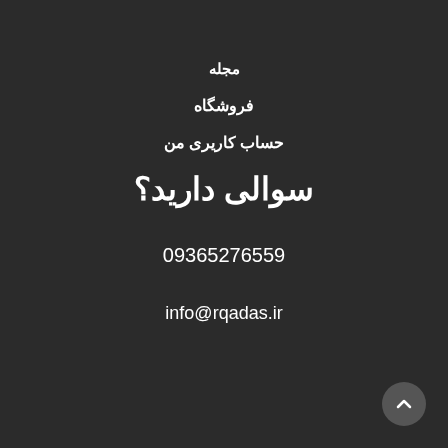مجله
فروشگاه
حساب کاریری من
سوالی دارید؟
09365276559
info@rqadas.ir